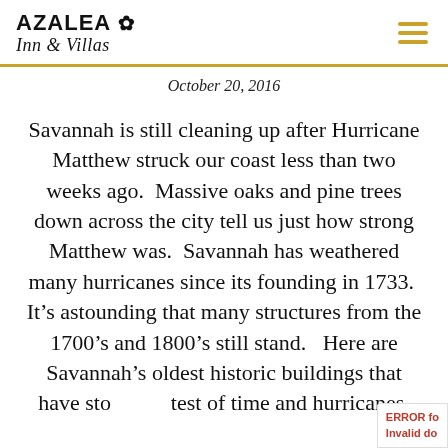Azalea Inn & Villas
October 20, 2016
Savannah is still cleaning up after Hurricane Matthew struck our coast less than two weeks ago.  Massive oaks and pine trees down across the city tell us just how strong Matthew was.  Savannah has weathered many hurricanes since its founding in 1733.  It’s astounding that many structures from the 1700’s and 1800’s still stand.   Here are Savannah’s oldest historic buildings that have stood the test of time and hurricanes.